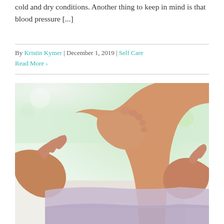cold and dry conditions.  Another thing to keep in mind is that blood pressure [...]
By Kristin Kymer | December 1, 2019 | Self Care
Read More >
[Figure (photo): Close-up of a therapist performing a foot and ankle massage on a person lying on a white towel, with a blurred green and white background.]